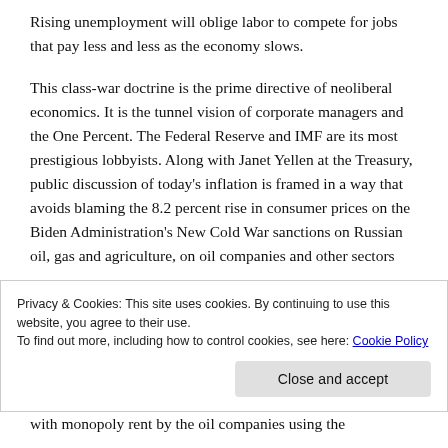Rising unemployment will oblige labor to compete for jobs that pay less and less as the economy slows.
This class-war doctrine is the prime directive of neoliberal economics. It is the tunnel vision of corporate managers and the One Percent. The Federal Reserve and IMF are its most prestigious lobbyists. Along with Janet Yellen at the Treasury, public discussion of today's inflation is framed in a way that avoids blaming the 8.2 percent rise in consumer prices on the Biden Administration's New Cold War sanctions on Russian oil, gas and agriculture, on oil companies and other sectors
Privacy & Cookies: This site uses cookies. By continuing to use this website, you agree to their use.
To find out more, including how to control cookies, see here: Cookie Policy
with monopoly rent by the oil companies using the